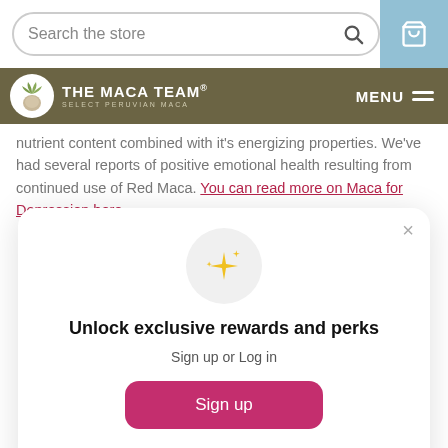Search the store [search bar] [cart icon]
THE MACA TEAM® SELECT PERUVIAN MACA — MENU
nutrient content combined with it's energizing properties. We've had several reports of positive emotional health resulting from continued use of Red Maca. You can read more on Maca for Depression here.
[Figure (screenshot): Popup modal: sparkle icon in gray circle, heading 'Unlock exclusive rewards and perks', subtext 'Sign up or Log in', pink 'Sign up' button, 'Already have an account? Sign in' link, and X close button.]